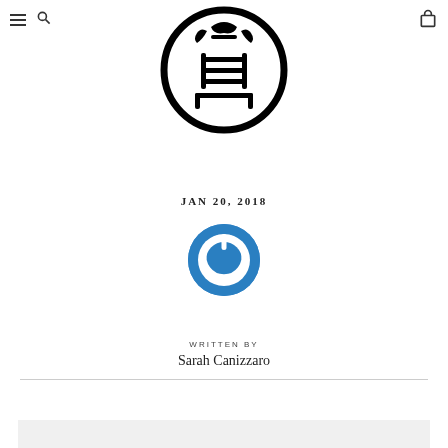[Figure (logo): Japanese-style circular seal/chop logo with kanji characters inside a thick circle border]
JAN 20, 2018
[Figure (logo): Blue circular power button icon]
WRITTEN BY
Sarah Canizzaro